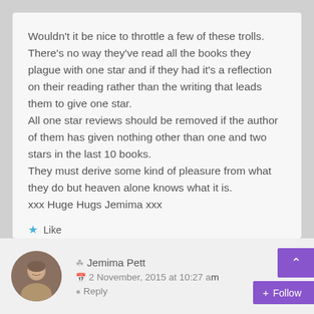Wouldn't it be nice to throttle a few of these trolls. There's no way they've read all the books they plague with one star and if they had it's a reflection on their reading rather than the writing that leads them to give one star.
All one star reviews should be removed if the author of them has given nothing other than one and two stars in the last 10 books.
They must derive some kind of pleasure from what they do but heaven alone knows what it is.
xxx Huge Hugs Jemima xxx
Like
Jemima Pett
2 November, 2015 at 10:27 am
Reply